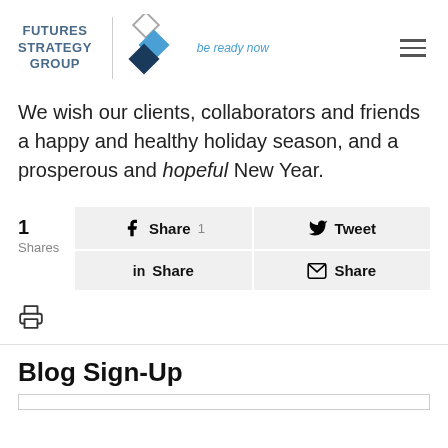FUTURES STRATEGY GROUP | be ready now
We wish our clients, collaborators and friends a happy and healthy holiday season, and a prosperous and hopeful New Year.
1 Shares
[Figure (screenshot): Social share buttons: Facebook Share 1, Tweet, LinkedIn Share, Email Share]
[Figure (other): Print icon]
Blog Sign-Up